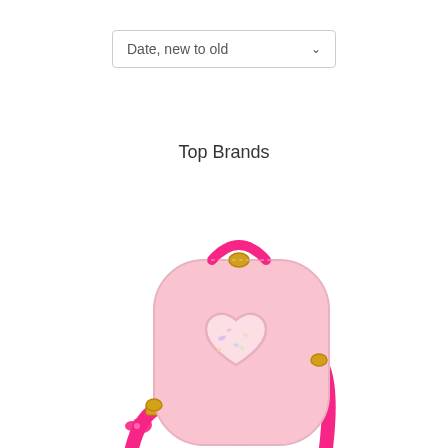Date, new to old
Top Brands
[Figure (photo): Pink mini backpack/crossbody bag with a glossy heart-shaped window on the front containing glitter/confetti, hot pink top handle and strap, and gold-toned hardware. Only the upper portion of the bag is visible, cropped at the bottom of the page.]